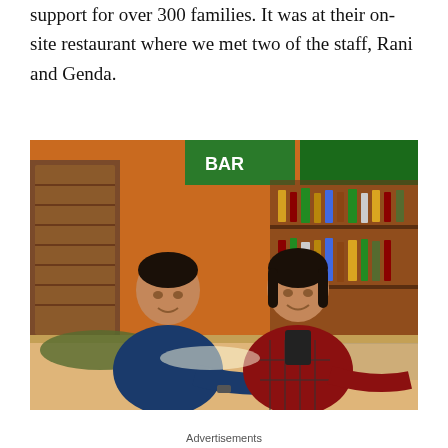support for over 300 families. It was at their on-site restaurant where we met two of the staff, Rani and Genda.
[Figure (photo): Two young staff members, a man in a blue t-shirt and a woman in a red plaid shirt, smiling and posing together inside a restaurant with an orange interior, shelves of bottles behind them, and a green lit sign in the background.]
Advertisements